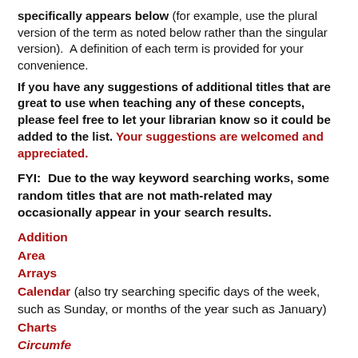specifically appears below (for example, use the plural version of the term as noted below rather than the singular version).  A definition of each term is provided for your convenience.
If you have any suggestions of additional titles that are great to use when teaching any of these concepts, please feel free to let your librarian know so it could be added to the list. Your suggestions are welcomed and appreciated.
FYI:  Due to the way keyword searching works, some random titles that are not math-related may occasionally appear in your search results.
Addition
Area
Arrays
Calendar (also try searching specific days of the week, such as Sunday, or months of the year such as January)
Charts
Circumference